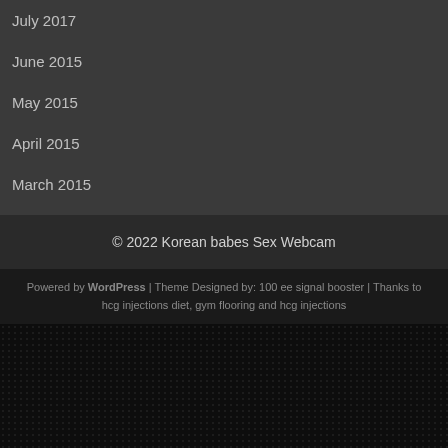July 2017
June 2015
May 2015
April 2015
March 2015
© 2022 Korean babes Sex Webcam
Powered by WordPress | Theme Designed by: 100 ee signal booster | Thanks to hcg injections diet, gym flooring and hcg injections